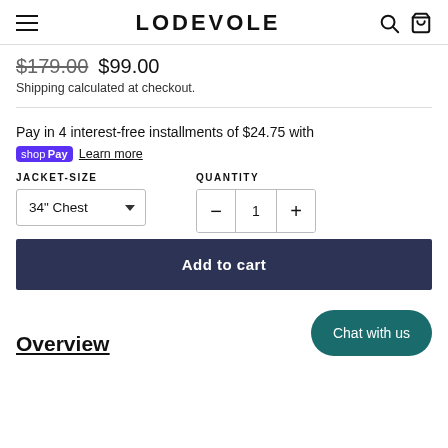LODEVOLE
$179.00  $99.00
Shipping calculated at checkout.
Pay in 4 interest-free installments of $24.75 with
shop Pay  Learn more
JACKET-SIZE   QUANTITY
34" Chest   -  1  +
Add to cart
Overview
Chat with us